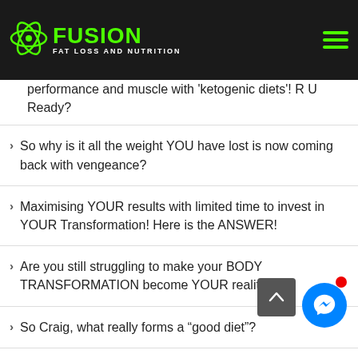Fusion Fat Loss and Nutrition
performance and muscle with 'ketogenic diets'! R U Ready?
So why is it all the weight YOU have lost is now coming back with vengeance?
Maximising YOUR results with limited time to invest in YOUR Transformation! Here is the ANSWER!
Are you still struggling to make your BODY TRANSFORMATION become YOUR reality?
So Craig, what really forms a “good diet”?
WOW what colour and flavours, and so easy!